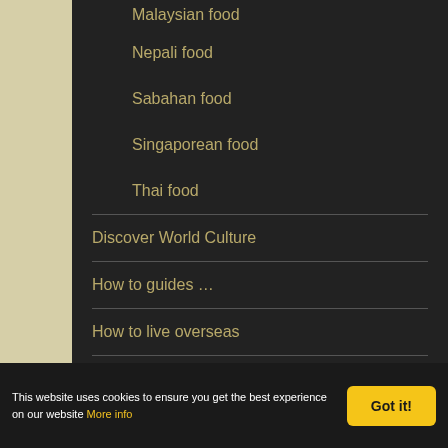Malaysian food
Nepali food
Sabahan food
Singaporean food
Thai food
Discover World Culture
How to guides …
How to live overseas
Long-term travel
Photography
Reviews
This website uses cookies to ensure you get the best experience on our website More info